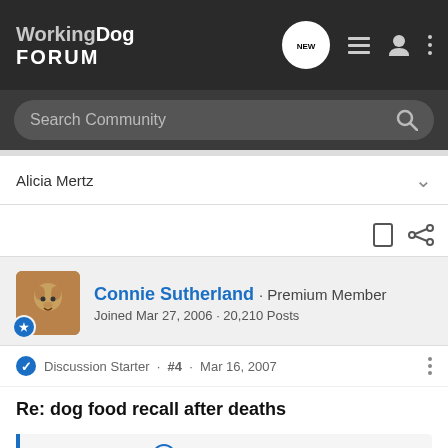WorkingDog FORUM
Search Community
Alicia Mertz
Connie Sutherland · Premium Member
Joined Mar 27, 2006 · 20,210 Posts
Discussion Starter · #4 · Mar 16, 2007
Re: dog food recall after deaths
Alicia Mertz said:
Funny...Chelsea and I were JUST talking yesterday about whether or not the food Girl was eating for the better part of her life contributed